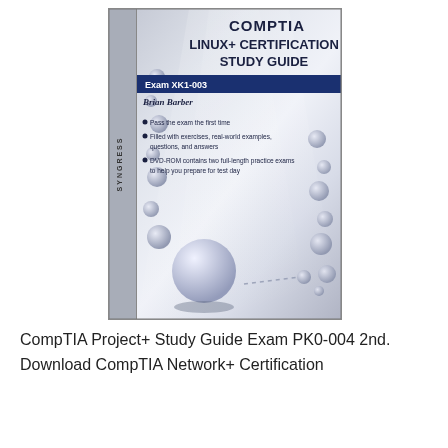[Figure (illustration): Book cover of CompTIA Linux+ Certification Study Guide, Exam XK1-003 by Brian Barber. Published by Syngress. Cover features a metallic silver background with scattered grey spheres/circles and light rays. Includes a dark blue exam band and bullet points listing book features.]
CompTIA Project+ Study Guide Exam PK0-004 2nd. Download CompTIA Network+ Certification